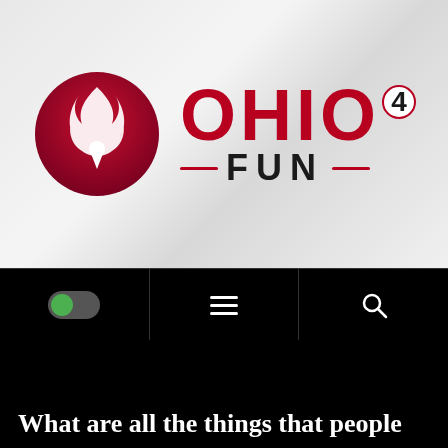[Figure (logo): Ohio 4 Fun logo: circular flame/location pin icon in dark red/crimson gradient on left, text 'OHIO' large bold dark red letters with superscript '4', and 'FUN' below with red dash lines on either side]
[Figure (screenshot): Mobile website navigation toolbar with black background: green toggle switch on left, hamburger menu icon in center, search/magnifying glass icon on right, separated by vertical dividers]
What are all the things that people